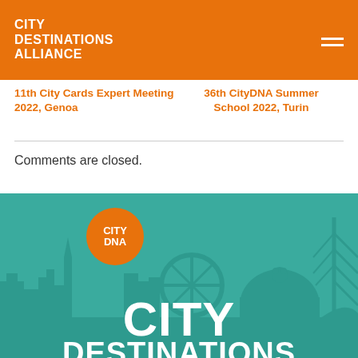CITY DESTINATIONS ALLIANCE
11th City Cards Expert Meeting 2022, Genoa
36th CityDNA Summer School 2022, Turin
Comments are closed.
[Figure (illustration): City skyline silhouette in teal with a circular orange CityDNA badge logo, and white City Destinations Alliance branding text at the bottom]
CITY DESTINATIONS ALLIANCE